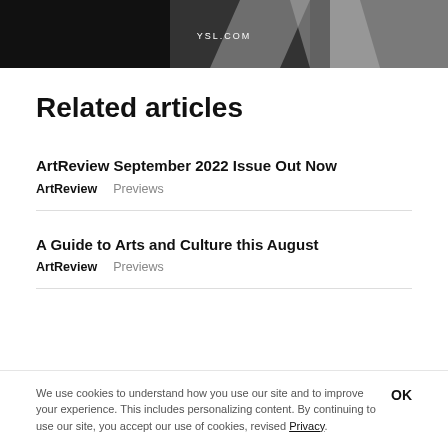[Figure (photo): Black and white fashion photo banner with YSL.COM text overlay]
Related articles
ArtReview September 2022 Issue Out Now
ArtReview   Previews
A Guide to Arts and Culture this August
ArtReview   Previews
We use cookies to understand how you use our site and to improve your experience. This includes personalizing content. By continuing to use our site, you accept our use of cookies, revised Privacy.